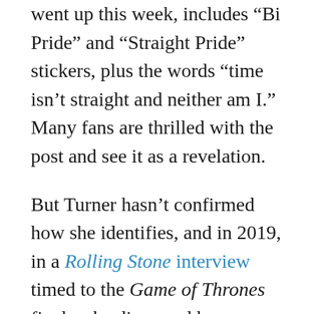went up this week, includes “Bi Pride” and “Straight Pride” stickers, plus the words “time isn’t straight and neither am I.” Many fans are thrilled with the post and see it as a revelation.
But Turner hasn’t confirmed how she identifies, and in 2019, in a Rolling Stone interview timed to the Game of Thrones finale, she discussed her attraction to both men and women without choosing to identify her sexuality in a particular way (and everyone has the right to choose an